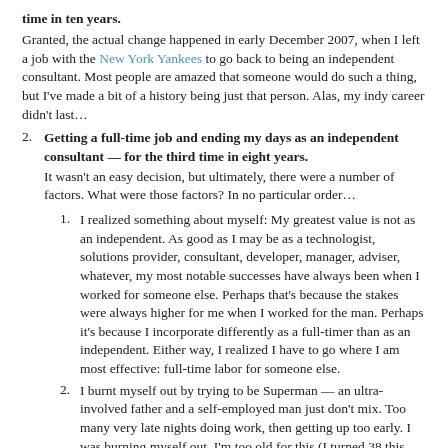time in ten years.
Granted, the actual change happened in early December 2007, when I left a job with the New York Yankees to go back to being an independent consultant. Most people are amazed that someone would do such a thing, but I've made a bit of a history being just that person. Alas, my indy career didn't last…
2. Getting a full-time job and ending my days as an independent consultant — for the third time in eight years.
It wasn't an easy decision, but ultimately, there were a number of factors. What were those factors? In no particular order…
1. I realized something about myself: My greatest value is not as an independent. As good as I may be as a technologist, solutions provider, consultant, developer, manager, adviser, whatever, my most notable successes have always been when I worked for someone else. Perhaps that's because the stakes were always higher for me when I worked for the man. Perhaps it's because I incorporate differently as a full-timer than as an independent. Either way, I realized I have to go where I am most effective: full-time labor for someone else.
2. I burnt myself out by trying to be Superman — an ultra-involved father and a self-employed man just don't mix. Too many very late nights doing work, then getting up too early. I was burning myself out. I'm too old for this (I turned 38 this year).
3. The economy slowed, my clients tightened, and I found an incredible full-time opportunity at a great company: Business Intelligence Associates. In one month they have exceeded my expectations. I hope that in time they realize what my true potential is and give me as many opportunities to make an